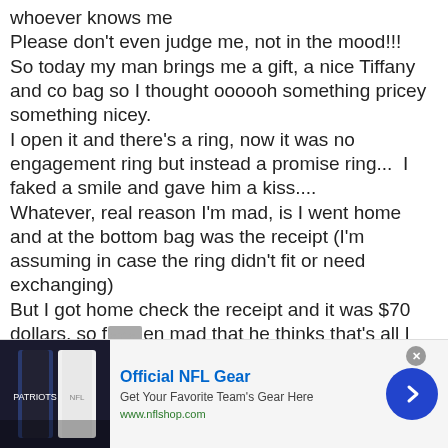whoever knows me
Please don't even judge me, not in the mood!!!
So today my man brings me a gift, a nice Tiffany and co bag so I thought oooooh something pricey something nicey.
I open it and there's a ring, now it was no engagement ring but instead a promise ring...  I faked a smile and gave him a kiss....
Whatever, real reason I'm mad, is I went home and at the bottom bag was the receipt (I'm assuming in case the ring didn't fit or need exchanging)
But I got home check the receipt and it was $70 dollars, so f***en mad that he thinks that's all I am worth
[Figure (screenshot): Advertisement banner for Official NFL Gear from nflshop.com showing NFL jerseys and a blue chevron button]